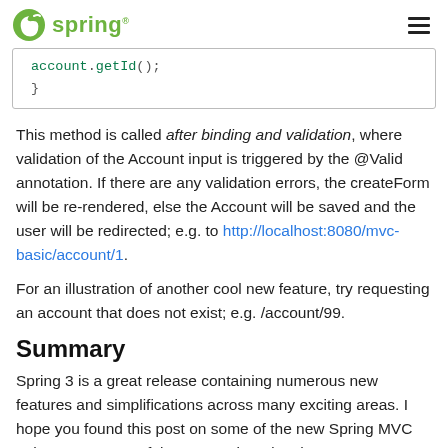spring
[Figure (screenshot): Code snippet showing account.getId(); and closing brace]
This method is called after binding and validation, where validation of the Account input is triggered by the @Valid annotation. If there are any validation errors, the createForm will be re-rendered, else the Account will be saved and the user will be redirected; e.g. to http://localhost:8080/mvc-basic/account/1.
For an illustration of another cool new feature, try requesting an account that does not exist; e.g. /account/99.
Summary
Spring 3 is a great release containing numerous new features and simplifications across many exciting areas. I hope you found this post on some of the new Spring MVC enhancements useful. As I mentioned at the top, expect